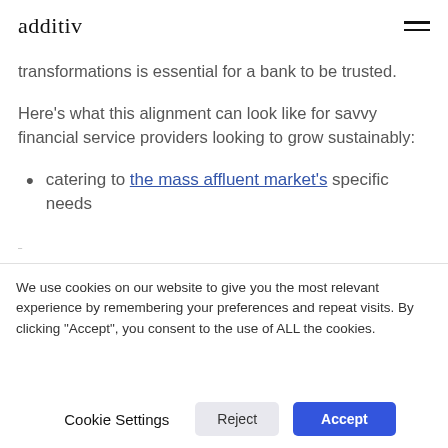additiv
transformations is essential for a bank to be trusted.
Here's what this alignment can look like for savvy financial service providers looking to grow sustainably:
catering to the mass affluent market's specific needs
We use cookies on our website to give you the most relevant experience by remembering your preferences and repeat visits. By clicking "Accept", you consent to the use of ALL the cookies.